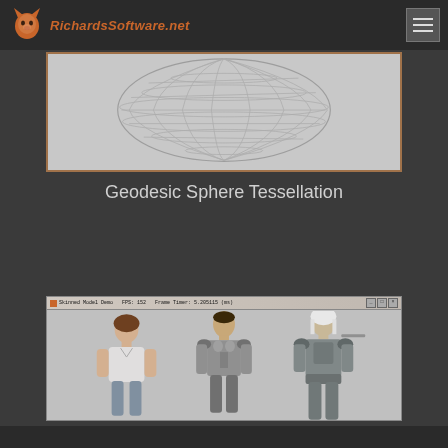RichardsSoftware.net
[Figure (illustration): A wireframe geodesic sphere rendered on a light gray background, showing a 3D mesh of triangulated polygons forming a sphere shape, viewed from slightly above.]
Geodesic Sphere Tessellation
[Figure (screenshot): A Windows application window titled 'Skinned Model Demo - FPS: 152 - Frame Timer: 5.205115 (ms)' showing three 3D character models standing in a row: a female character in a t-shirt on the left, a male character in armor in the center, and an armored warrior with a sword on the right.]